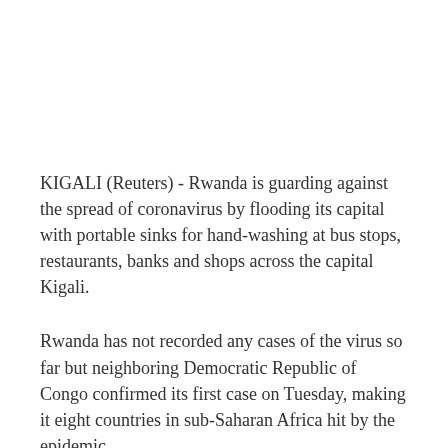KIGALI (Reuters) - Rwanda is guarding against the spread of coronavirus by flooding its capital with portable sinks for hand-washing at bus stops, restaurants, banks and shops across the capital Kigali.
Rwanda has not recorded any cases of the virus so far but neighboring Democratic Republic of Congo confirmed its first case on Tuesday, making it eight countries in sub-Saharan Africa hit by the epidemic.